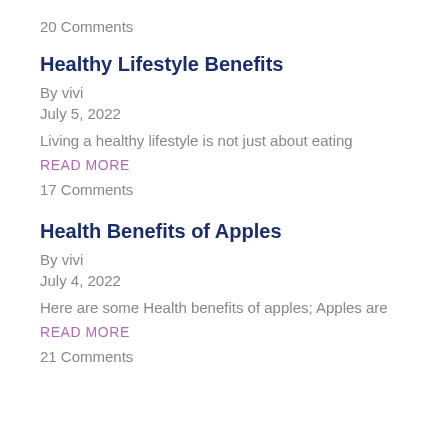20 Comments
Healthy Lifestyle Benefits
By vivi
July 5, 2022
Living a healthy lifestyle is not just about eating
READ MORE
17 Comments
Health Benefits of Apples
By vivi
July 4, 2022
Here are some Health benefits of apples; Apples are
READ MORE
21 Comments